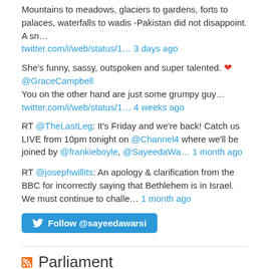Mountains to meadows, glaciers to gardens, forts to palaces, waterfalls to wadis -Pakistan did not disappoint. A sn… twitter.com/i/web/status/1… 3 days ago
She's funny, sassy, outspoken and super talented. ❤ @GraceCampbell You on the other hand are just some grumpy guy… twitter.com/i/web/status/1… 4 weeks ago
RT @TheLastLeg: It's Friday and we're back! Catch us LIVE from 10pm tonight on @Channel4 where we'll be joined by @frankieboyle, @SayeedaWa… 1 month ago
RT @josephwillits: An apology & clarification from the BBC for incorrectly saying that Bethlehem is in Israel. We must continue to challe… 1 month ago
[Figure (other): Follow @sayeedawarsi Twitter button]
Parliament